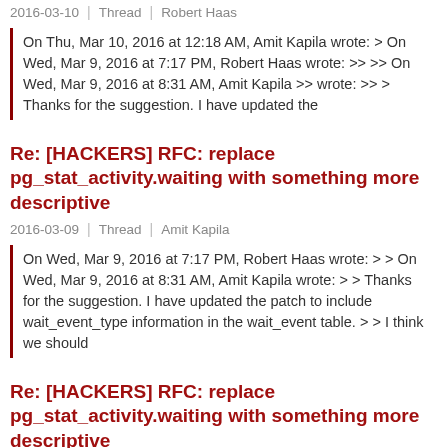2016-03-10 | Thread | Robert Haas
On Thu, Mar 10, 2016 at 12:18 AM, Amit Kapila wrote: > On Wed, Mar 9, 2016 at 7:17 PM, Robert Haas wrote: >> >> On Wed, Mar 9, 2016 at 8:31 AM, Amit Kapila >> wrote: >> > Thanks for the suggestion. I have updated the
Re: [HACKERS] RFC: replace pg_stat_activity.waiting with something more descriptive
2016-03-09 | Thread | Amit Kapila
On Wed, Mar 9, 2016 at 7:17 PM, Robert Haas wrote: > > On Wed, Mar 9, 2016 at 8:31 AM, Amit Kapila wrote: > > Thanks for the suggestion. I have updated the patch to include wait_event_type information in the wait_event table. > > I think we should
Re: [HACKERS] RFC: replace pg_stat_activity.waiting with something more descriptive
2016-03-09 | Thread | Thom Brown
On 9 March 2016 at 13:31, Amit Kapila wrote: > On Fri, Mar 4, 2016 at 7:11 PM, Alexander Korotkov > wrote: > > > >> > >> If yes, then the only slight worry is that there will lot of